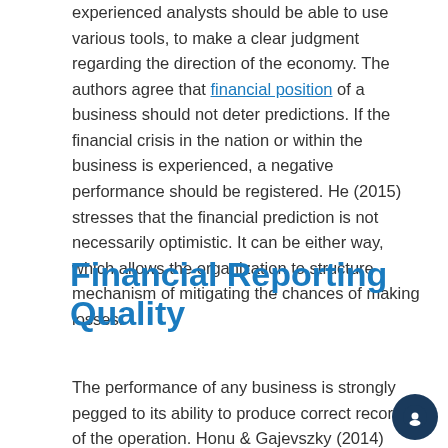experienced analysts should be able to use various tools, to make a clear judgment regarding the direction of the economy. The authors agree that financial position of a business should not deter predictions. If the financial crisis in the nation or within the business is experienced, a negative performance should be registered. He (2015) stresses that the financial prediction is not necessarily optimistic. It can be either way, which allows the organization to structure mechanism of mitigating the chances of making losses.
Financial Reporting Quality
The performance of any business is strongly pegged to its ability to produce correct records of the operation. Honu & Gajevszky (2014) defines financial reporting as the revelation of statements that give the status of an